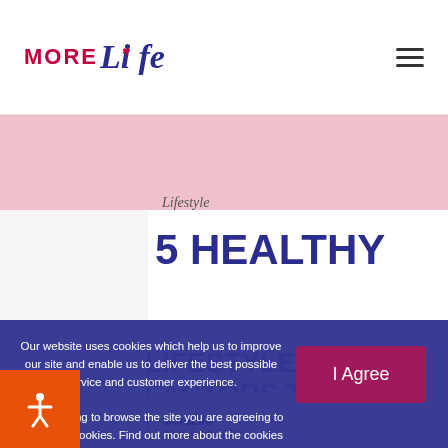MORE Life
[Figure (illustration): Pink banner image area at top of article]
Lifestyle
5 HEALTHY LIFESTYLE FACTORS FOR TYPE 2 DIABETES
Our website uses cookies which help us to improve our site and enable us to deliver the best possible service and customer experience. By continuing to browse the site you are agreeing to our use of cookies. Find out more about the cookies we use on our cookie policy page.
MoreLife
28th April 2022